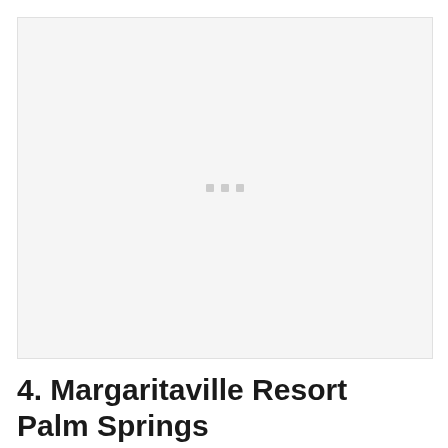[Figure (photo): Large image placeholder with light gray background and three small gray squares in the center, indicating a loading or unavailable image state.]
4. Margaritaville Resort Palm Springs